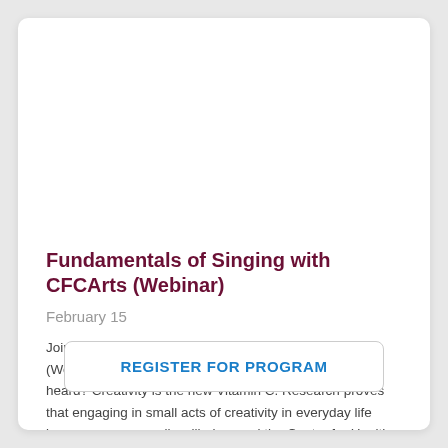Fundamentals of Singing with CFCArts (Webinar)
February 15
Join us for Fundamentals of Singing with CFCArts (Webinar) on Tuesday, February 15 at 11 AM. Have you heard? Creativity is the new Vitamin C. Research proves that engaging in small acts of creativity in everyday life increases our overall wellbeing, and the Center for Health & Wellbeing offers ways to do just that. Visit...
REGISTER FOR PROGRAM